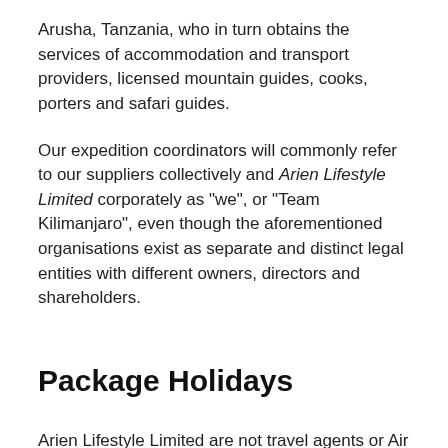Arusha, Tanzania, who in turn obtains the services of accommodation and transport providers, licensed mountain guides, cooks, porters and safari guides.
Our expedition coordinators will commonly refer to our suppliers collectively and Arien Lifestyle Limited corporately as "we", or "Team Kilimanjaro", even though the aforementioned organisations exist as separate and distinct legal entities with different owners, directors and shareholders.
Package Holidays
Arien Lifestyle Limited are not travel agents or Air Traffic Organisers, and they do not sell package